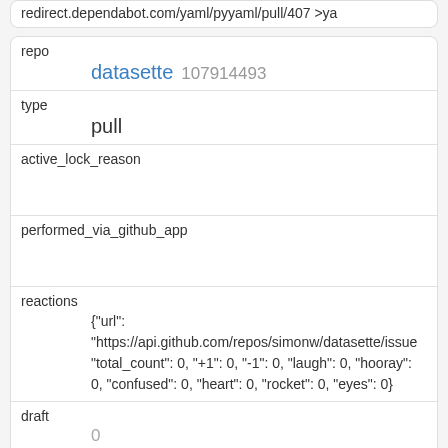redirect.dependabot.com/yaml/pyyaml/pull/407 >ya
| key | value |
| --- | --- |
| repo | datasette 107914493 |
| type | pull |
| active_lock_reason |  |
| performed_via_github_app |  |
| reactions | {"url": "https://api.github.com/repos/simonw/datasette/issue "total_count": 0, "+1": 0, "-1": 0, "laugh": 0, "hooray": 0, "confused": 0, "heart": 0, "rocket": 0, "eyes": 0} |
| draft | 0 |
| state_reason |  |
| key | value |
| --- | --- |
| id | 1029100833 |